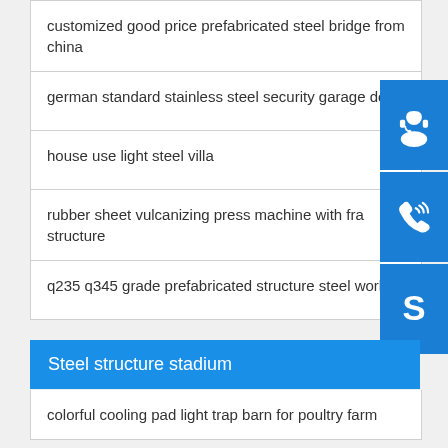customized good price prefabricated steel bridge from china
german standard stainless steel security garage door
house use light steel villa
rubber sheet vulcanizing press machine with fra structure
q235 q345 grade prefabricated structure steel work
Steel structure stadium
colorful cooling pad light trap barn for poultry farm